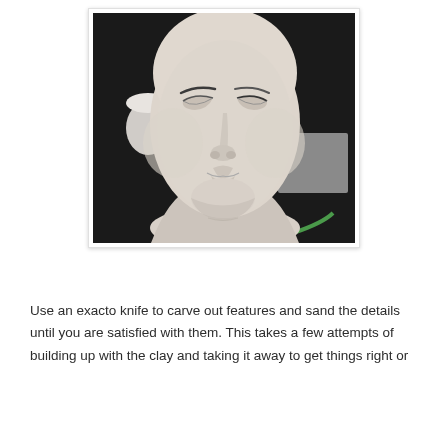[Figure (photo): A white clay or plaster sculpted head/bust of a stylized human face with closed or narrowed eyes, smooth features, on a dark background. Various studio items visible in the background including a candle, foam block, and other workshop materials.]
Use an exacto knife to carve out features and sand the details until you are satisfied with them. This takes a few attempts of building up with the clay and taking it away to get things right or